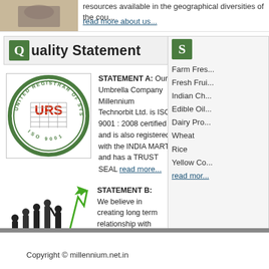resources available in the geographical diversities of the cou...
read more about us...
Quality Statement
[Figure (logo): URS United Registrar of Systems ISO 9001 certification seal]
STATEMENT A: Our Umbrella Company Millennium Technorbit Ltd. is ISO 9001 : 2008 certified and is also registered with the INDIA MART and has a TRUST SEAL read more...
[Figure (illustration): Business growth illustration with silhouetted people and upward green arrow]
STATEMENT B: We believe in creating long term relationship with clients and are strongly quality oriented. read more...
Farm Fres...
Fresh Frui...
Indian Ch...
Edible Oil...
Dairy Pro...
Wheat
Rice
Yellow Co...
read mor...
Copyright © millennium.net.in